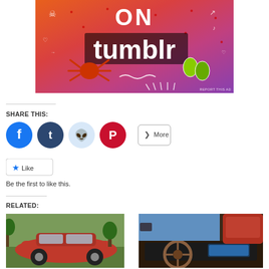[Figure (illustration): Tumblr advertisement banner with colorful orange-to-purple gradient background, doodle illustrations (skull, crab, leaves), and text 'ON tumblr' in bold white letters]
REPORT THIS AD
SHARE THIS:
[Figure (illustration): Social media share buttons: Facebook (blue circle), Tumblr (dark blue circle), Reddit (light blue circle), Pinterest (red circle), and More button]
[Figure (illustration): Like button with star icon]
Be the first to like this.
RELATED:
[Figure (photo): Photo of a red car exterior from outside]
[Figure (photo): Photo of a red car interior dashboard]